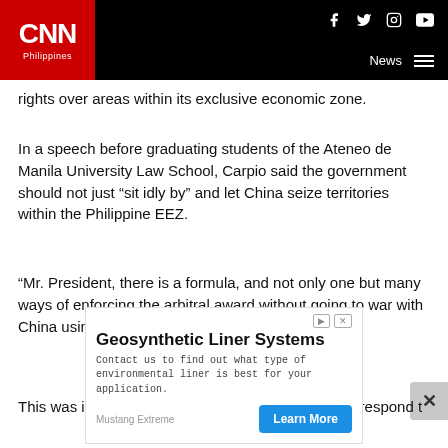CNN Philippines — News
rights over areas within its exclusive economic zone.
In a speech before graduating students of the Ateneo de Manila University Law School, Carpio said the government should not just “sit idly by” and let China seize territories within the Philippine EEZ.
“Mr. President, there is a formula, and not only one but many ways of enforcing the arbitral award without going to war with China using only the rule of law,” Carpio said.
This was in response to Duterte’s dare to Carpio to respond t
[Figure (other): Advertisement banner for Geosynthetic Liner Systems by Mustang Extreme. Contains 'Geosynthetic Liner Systems' as title, body text 'Contact us to find out what type of environmental liner is best for your application.' and a 'Learn More' button.]